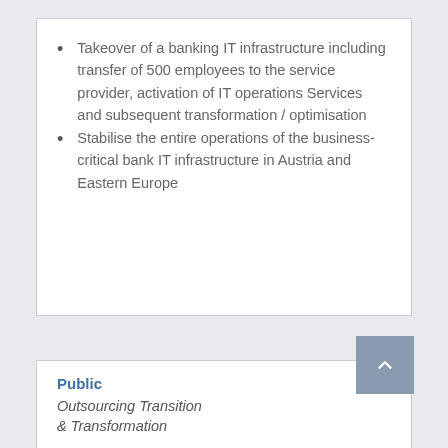Takeover of a banking IT infrastructure including transfer of 500 employees to the service provider, activation of IT operations Services and subsequent transformation / optimisation
Stabilise the entire operations of the business-critical bank IT infrastructure in Austria and Eastern Europe
Public
Outsourcing Transition & Transformation